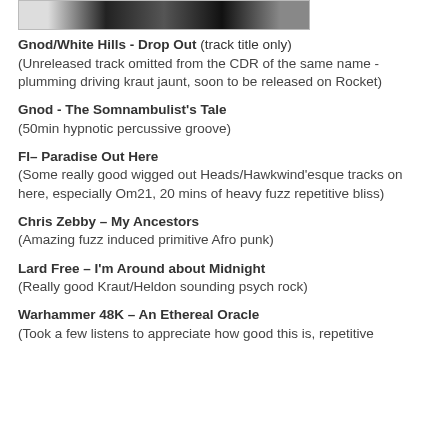[Figure (photo): Partial image at top of page showing black and white artwork]
Gnod/White Hills - Drop Out (track title only)
(Unreleased track omitted from the CDR of the same name - plumming driving kraut jaunt, soon to be released on Rocket)
Gnod - The Somnambulist's Tale
(50min hypnotic percussive groove)
FI– Paradise Out Here
(Some really good wigged out Heads/Hawkwind'esque tracks on here, especially Om21, 20 mins of heavy fuzz repetitive bliss)
Chris Zebby – My Ancestors
(Amazing fuzz induced primitive Afro punk)
Lard Free – I'm Around about Midnight
(Really good Kraut/Heldon sounding psych rock)
Warhammer 48K – An Ethereal Oracle
(Took a few listens to appreciate how good this is, repetitive